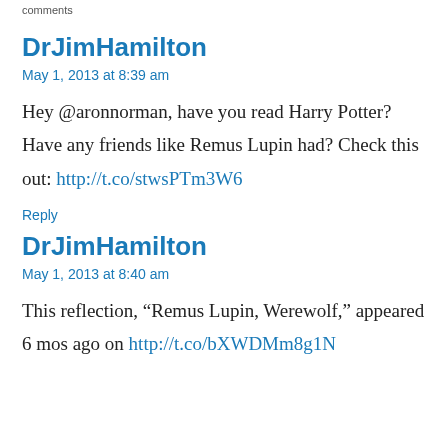comments
DrJimHamilton
May 1, 2013 at 8:39 am
Hey @aronnorman, have you read Harry Potter? Have any friends like Remus Lupin had? Check this out: http://t.co/stwsPTm3W6
Reply
DrJimHamilton
May 1, 2013 at 8:40 am
This reflection, “Remus Lupin, Werewolf,” appeared 6 mos ago on http://t.co/bXWDMm8g1N